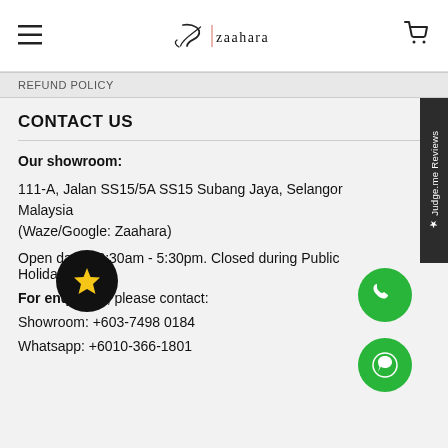[Figure (logo): Zaahara brand logo with stylized Z graphic and text 'zaahara', with hamburger menu icon on left and cart icon on right]
REFUND POLICY
CONTACT US
Our showroom:
111-A, Jalan SS15/5A SS15 Subang Jaya, Selangor Malaysia (Waze/Google: Zaahara)
Open days 10:30am - 5:30pm. Closed during Public Holiday.
For enquiries, please contact:
Showroom: +603-7498 0184
Whatsapp: +6010-366-1801